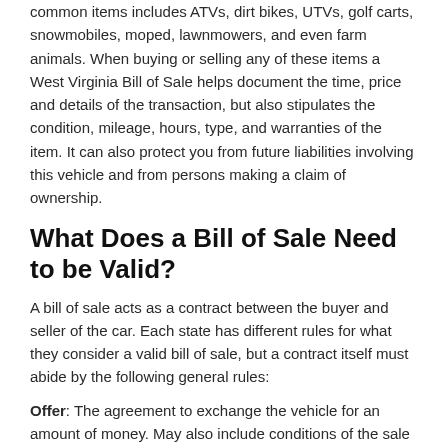common items includes ATVs, dirt bikes, UTVs, golf carts, snowmobiles, moped, lawnmowers, and even farm animals. When buying or selling any of these items a West Virginia Bill of Sale helps document the time, price and details of the transaction, but also stipulates the condition, mileage, hours, type, and warranties of the item. It can also protect you from future liabilities involving this vehicle and from persons making a claim of ownership.
What Does a Bill of Sale Need to be Valid?
A bill of sale acts as a contract between the buyer and seller of the car. Each state has different rules for what they consider a valid bill of sale, but a contract itself must abide by the following general rules:
Offer: The agreement to exchange the vehicle for an amount of money. May also include conditions of the sale for the buyer and the seller.
Consideration: The amount of money being exchanged. Usually in a numeric and written form.
Acceptance: Signatures of both parties on the bill of sale.
Competent Parties and Legal Intent: Both parties entering the contract must be competent (age, mental capacity, and not impaired or